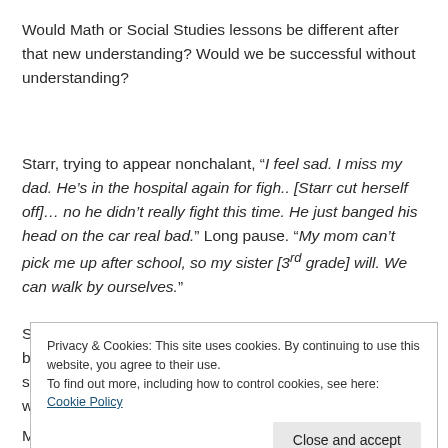Would Math or Social Studies lessons be different after that new understanding?  Would we be successful without understanding?
Starr, trying to appear nonchalant, “I feel sad.  I miss my dad.  He’s in the hospital again for figh.. [Starr cut herself off]… no he didn’t really fight this time.  He just banged his head on the car real bad.”  Long pause.  “My mom can’t pick me up after school, so my sister [3rd grade] will.  We can walk by ourselves.”
S
b
s
w
Privacy & Cookies: This site uses cookies. By continuing to use this website, you agree to their use.
To find out more, including how to control cookies, see here: Cookie Policy
More from the same classroom:  “I feel sad, I don’t know what